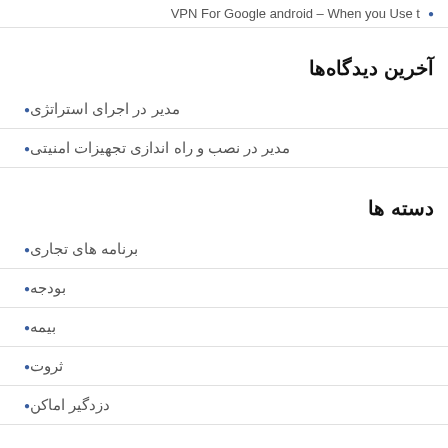VPN For Google android – When you Use t
آخرین دیدگاه‌ها
مدیر در اجرای استراتژی
مدیر در نصب و راه اندازی تجهیزات امنیتی
دسته ها
برنامه های تجاری
بودجه
بیمه
ثروت
دزدگیر اماکن